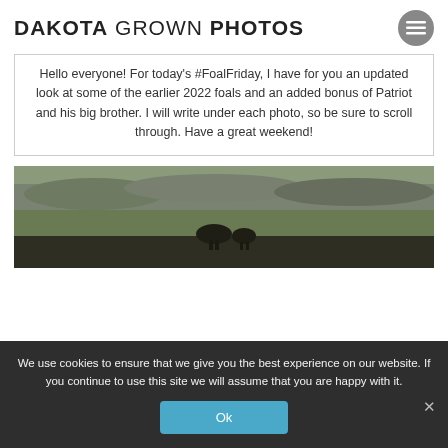DAKOTA GROWN PHOTOS
Hello everyone! For today's #FoalFriday, I have for you an updated look at some of the earlier 2022 foals and an added bonus of Patriot and his big brother. I will write under each photo, so be sure to scroll through. Have a great weekend!
[Figure (photo): Outdoor landscape photo showing horses in a field with rocky badlands terrain in the background, green grass in the foreground.]
We use cookies to ensure that we give you the best experience on our website. If you continue to use this site we will assume that you are happy with it.